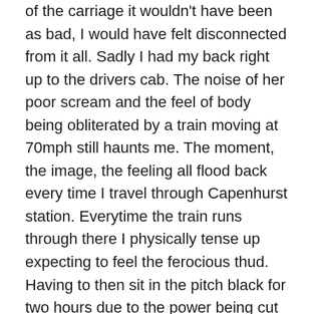of the carriage it wouldn't have been as bad, I would have felt disconnected from it all. Sadly I had my back right up to the drivers cab. The noise of her poor scream and the feel of body being obliterated by a train moving at 70mph still haunts me. The moment, the image, the feeling all flood back every time I travel through Capenhurst station. Everytime the train runs through there I physically tense up expecting to feel the ferocious thud. Having to then sit in the pitch black for two hours due to the power being cut and being trapped while you can see bits of body stuff on the windows was far from pleasant. I really appreciated everyones texts and messages trying to keep my mind occupied. It saddens me more that  it was a suicide and he was only 16 years of age. I also felt really sorry for the driver, she had no chance to avoid or brake in time. I really didn't want to step foot back on a train and it took